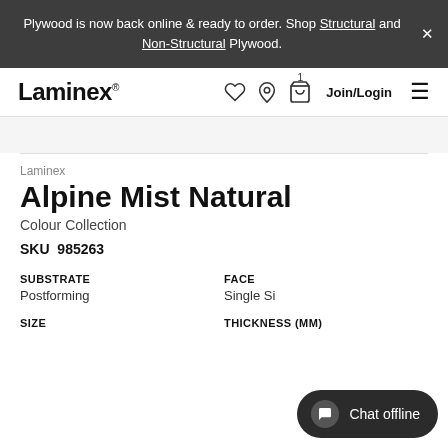Plywood is now back online & ready to order. Shop Structural and Non-Structural Plywood. X
Laminex | Join/Login
Laminex
Alpine Mist Natural
Colour Collection
SKU  985263
SUBSTRATE
Postforming
FACE
Single Si
SIZE
THICKNESS (MM)
Chat offline